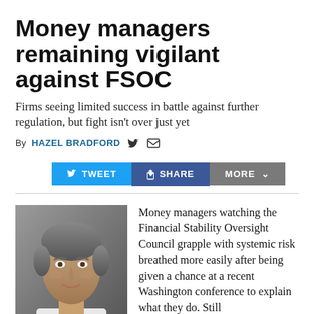Money managers remaining vigilant against FSOC
Firms seeing limited success in battle against further regulation, but fight isn't over just yet
By HAZEL BRADFORD
[Figure (other): Social sharing buttons: Tweet, Share, More]
[Figure (photo): Headshot of a middle-aged man with gray hair wearing a white shirt, gray background]
Money managers watching the Financial Stability Oversight Council grapple with systemic risk breathed more easily after being given a chance at a recent Washington conference to explain what they do. Still